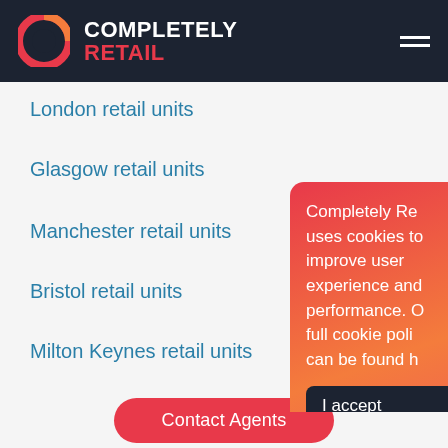COMPLETELY RETAIL
London retail units
Glasgow retail units
Manchester retail units
Bristol retail units
Milton Keynes retail units
Leeds retail units
Nottingham retail units
[Figure (screenshot): Cookie consent popup overlay with gradient red-orange background reading: Completely Re[tail] uses cookies to improve user experience and performance. Our full cookie poli[cy] can be found h[ere]. Contains 'I accept' dark button and 'I do not ac[cept]' white button.]
Contact Agents